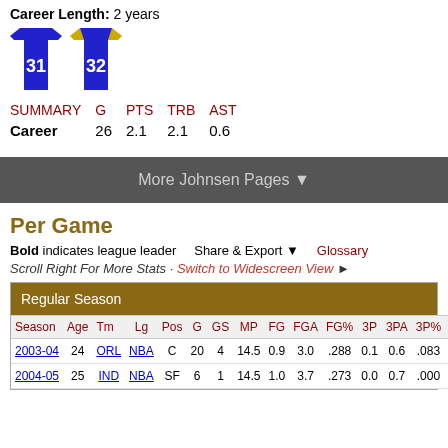Career Length: 2 years
[Figure (illustration): Two basketball jerseys: blue jersey #31 and blue/gold jersey #32]
| SUMMARY | G | PTS | TRB | AST |
| --- | --- | --- | --- | --- |
| Career | 26 | 2.1 | 2.1 | 0.6 |
More Johnsen Pages ▼
Per Game
Bold indicates league leader   Share & Export ▼   Glossary
Scroll Right For More Stats · Switch to Widescreen View ►
| Season | Age | Tm | Lg | Pos | G | GS | MP | FG | FGA | FG% | 3P | 3PA | 3P% | 2P |
| --- | --- | --- | --- | --- | --- | --- | --- | --- | --- | --- | --- | --- | --- | --- |
| 2003-04 | 24 | ORL | NBA | C | 20 | 4 | 14.5 | 0.9 | 3.0 | .288 | 0.1 | 0.6 | .083 | 0.8 |
| 2004-05 | 25 | IND | NBA | SF | 6 | 1 | 14.5 | 1.0 | 3.7 | .273 | 0.0 | 0.7 | .000 | 1.0 |